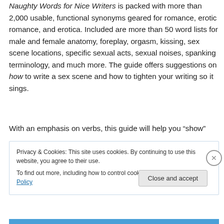Naughty Words for Nice Writers is packed with more than 2,000 usable, functional synonyms geared for romance, erotic romance, and erotica. Included are more than 50 word lists for male and female anatomy, foreplay, orgasm, kissing, sex scene locations, specific sexual acts, sexual noises, spanking terminology, and much more. The guide offers suggestions on how to write a sex scene and how to tighten your writing so it sings.
With an emphasis on verbs, this guide will help you “show”
Privacy & Cookies: This site uses cookies. By continuing to use this website, you agree to their use.
To find out more, including how to control cookies, see here: Cookie Policy
Close and accept